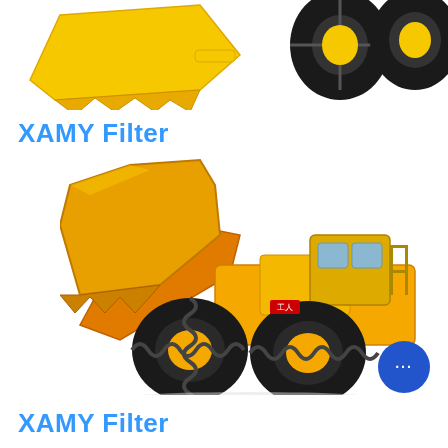[Figure (photo): Partial view of yellow construction wheel loader showing bucket and tires from the top portion of the page]
XAMY Filter
[Figure (photo): Full orange/yellow large wheel loader with raised bucket with multiple teeth, large black tires, cab visible on right side]
XAMY Filter